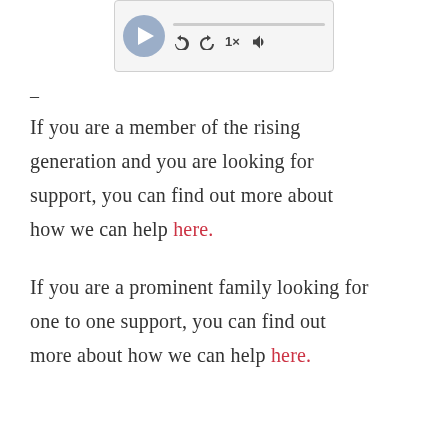[Figure (screenshot): Audio/media player widget with play button, progress bar, and controls (rewind, forward, 1x speed, volume)]
–
If you are a member of the rising generation and you are looking for support, you can find out more about how we can help here.
If you are a prominent family looking for one to one support, you can find out more about how we can help here.